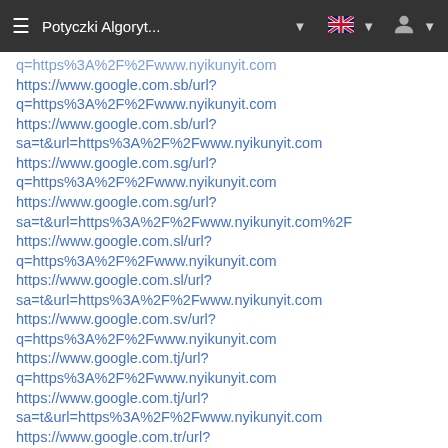≡   Potyczki Algoryt...  ▼   [flag]  ▼   [user]  ▼
https://www.google.com.sb/url?q=https%3A%2F%2Fwww.nyikunyit.com
https://www.google.com.sb/url?sa=t&url=https%3A%2F%2Fwww.nyikunyit.com
https://www.google.com.sg/url?q=https%3A%2F%2Fwww.nyikunyit.com
https://www.google.com.sg/url?sa=t&url=https%3A%2F%2Fwww.nyikunyit.com%2F
https://www.google.com.sl/url?q=https%3A%2F%2Fwww.nyikunyit.com
https://www.google.com.sl/url?sa=t&url=https%3A%2F%2Fwww.nyikunyit.com
https://www.google.com.sv/url?q=https%3A%2F%2Fwww.nyikunyit.com
https://www.google.com.tj/url?q=https%3A%2F%2Fwww.nyikunyit.com
https://www.google.com.tj/url?sa=t&url=https%3A%2F%2Fwww.nyikunyit.com
https://www.google.com.tr/url?
q=https%3A%2F%2Fwww.nyikunyit.com